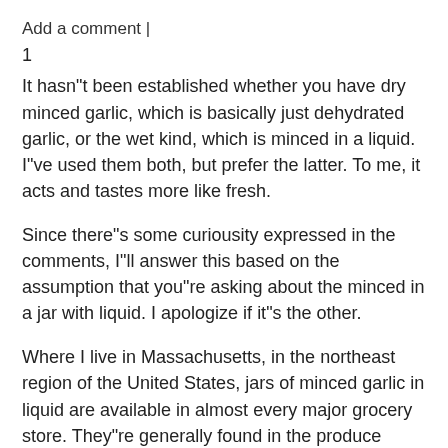Add a comment |
1
It hasn"t been established whether you have dry minced garlic, which is basically just dehydrated garlic, or the wet kind, which is minced in a liquid. I"ve used them both, but prefer the latter. To me, it acts and tastes more like fresh.
Since there"s some curiousity expressed in the comments, I"ll answer this based on the assumption that you"re asking about the minced in a jar with liquid. I apologize if it"s the other.
Where I live in Massachusetts, in the northeast region of the United States, jars of minced garlic in liquid are available in almost every major grocery store. They"re generally found in the produce section, but not always. I use it because I don"t cook very often and fresh things tend to go bad in my